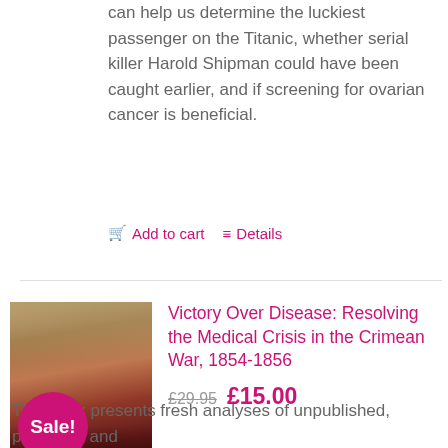can help us determine the luckiest passenger on the Titanic, whether serial killer Harold Shipman could have been caught earlier, and if screening for ovarian cancer is beneficial.
Add to cart   Details
[Figure (photo): Book cover for Victory Over Disease: Resolving the Medical Crisis in the Crimean War, 1854-1856, with a Sale! badge overlay]
Victory Over Disease: Resolving the Medical Crisis in the Crimean War, 1854-1856
£29.95  £15.00
This book presents fresh analyses of unpublished, published and